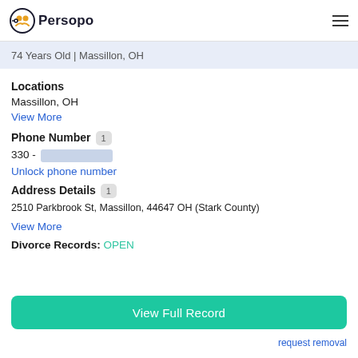Persopo
Sandra Moyer
74 Years Old | Massillon, OH
Locations
Massillon, OH
View More
Phone Number 1
330 - [redacted]
Unlock phone number
Address Details 1
2510 Parkbrook St, Massillon, 44647 OH (Stark County)
View More
Divorce Records: OPEN
View Full Record
request removal